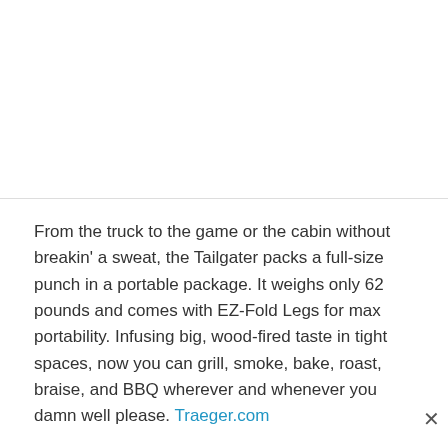From the truck to the game or the cabin without breakin' a sweat, the Tailgater packs a full-size punch in a portable package. It weighs only 62 pounds and comes with EZ-Fold Legs for max portability. Infusing big, wood-fired taste in tight spaces, now you can grill, smoke, bake, roast, braise, and BBQ wherever and whenever you damn well please. Traeger.com
ION Audio Block Rocker Plus
$159.99
[Figure (photo): Blurry outdoor green background photo, appears to show a grassy or wooded area]